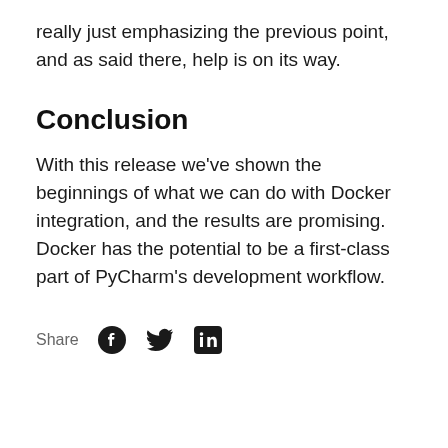really just emphasizing the previous point, and as said there, help is on its way.
Conclusion
With this release we've shown the beginnings of what we can do with Docker integration, and the results are promising. Docker has the potential to be a first-class part of PyCharm's development workflow.
Share